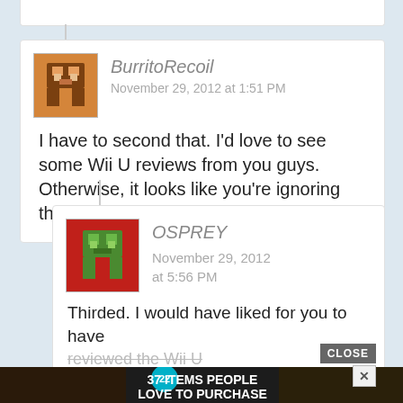[Figure (screenshot): Partial top of a previous comment card, white background, cut off at top of page]
BurritoRecoil
November 29, 2012 at 1:51 PM
I have to second that. I'd love to see some Wii U reviews from you guys. Otherwise, it looks like you're ignoring the system.
[Figure (illustration): Pixel art avatar: brown/tan colored character on orange background]
OSPREY
November 29, 2012 at 5:56 PM
Thirded. I would have liked for you to have reviewed the Wii U
[Figure (illustration): Pixel art avatar: green character on red background]
[Figure (screenshot): Ad banner: dark background with food images, badge with 22, text '37 ITEMS PEOPLE LOVE TO PURCHASE ON AMAZON', CLOSE button and X button overlay]